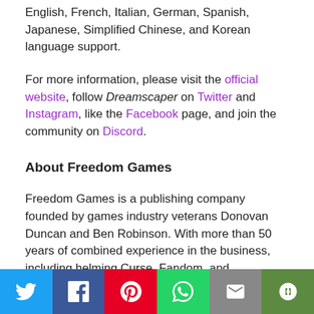English, French, Italian, German, Spanish, Japanese, Simplified Chinese, and Korean language support.
For more information, please visit the official website, follow Dreamscaper on Twitter and Instagram, like the Facebook page, and join the community on Discord.
About Freedom Games
Freedom Games is a publishing company founded by games industry veterans Donovan Duncan and Ben Robinson. With more than 50 years of combined experience in the business, including helming Curse, Fandom, and Gamepedia, the team at Freedom! now aim to leverage their expertise, experience, and passion to foster innovation and creativity from talented game makers.
For more information, visit the official website.
[Figure (infographic): Social sharing toolbar with Twitter, Facebook, Pinterest, WhatsApp, Email, and More buttons]